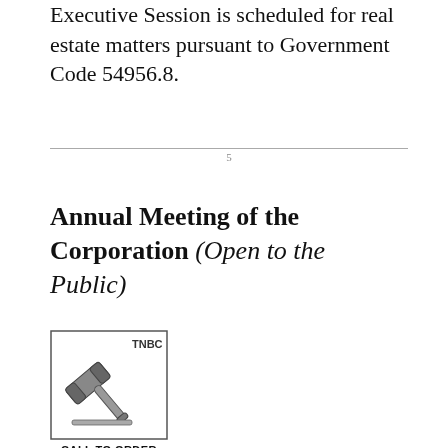Executive Session is scheduled for real estate matters pursuant to Government Code 54956.8.
5
Annual Meeting of the Corporation (Open to the Public)
[Figure (illustration): TNBC gavel icon in a square border with text CALL TO ORDER below]
CALL TO ORDER